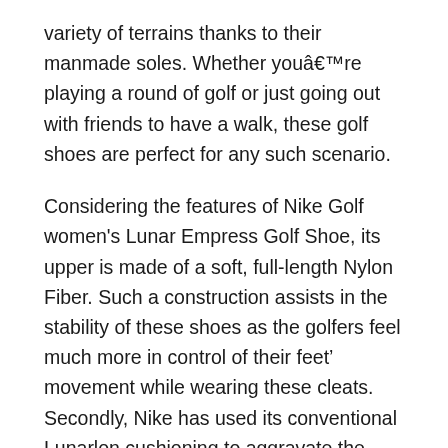variety of terrains thanks to their manmade soles. Whether youâre playing a round of golf or just going out with friends to have a walk, these golf shoes are perfect for any such scenario.
Considering the features of Nike Golf women's Lunar Empress Golf Shoe, its upper is made of a soft, full-length Nylon Fiber. Such a construction assists in the stability of these shoes as the golfers feel much more in control of their feet’ movement while wearing these cleats. Secondly, Nike has used its conventional Lunarlon cushioning to aggravate the amenity of its user. It is provided in S Shape which resembles that of a golferâs feet.
And to make things a bit more support to its valuable